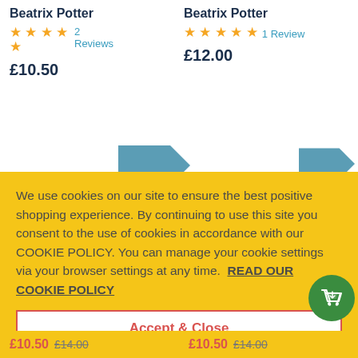Beatrix Potter
★★★★★ 2 Reviews
£10.50
Beatrix Potter
★★★★★ 1 Review
£12.00
We use cookies on our site to ensure the best positive shopping experience. By continuing to use this site you consent to the use of cookies in accordance with our COOKIE POLICY. You can manage your cookie settings via your browser settings at any time.  READ OUR COOKIE POLICY
Accept & Close
£10.50  £14.00
£10.50  £14.00